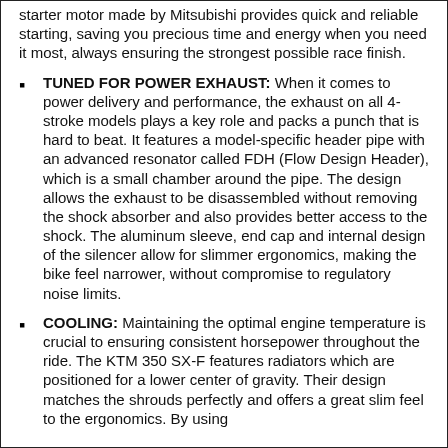starter motor made by Mitsubishi provides quick and reliable starting, saving you precious time and energy when you need it most, always ensuring the strongest possible race finish.
TUNED FOR POWER EXHAUST: When it comes to power delivery and performance, the exhaust on all 4-stroke models plays a key role and packs a punch that is hard to beat. It features a model-specific header pipe with an advanced resonator called FDH (Flow Design Header), which is a small chamber around the pipe. The design allows the exhaust to be disassembled without removing the shock absorber and also provides better access to the shock. The aluminum sleeve, end cap and internal design of the silencer allow for slimmer ergonomics, making the bike feel narrower, without compromise to regulatory noise limits.
COOLING: Maintaining the optimal engine temperature is crucial to ensuring consistent horsepower throughout the ride. The KTM 350 SX-F features radiators which are positioned for a lower center of gravity. Their design matches the shrouds perfectly and offers a great slim feel to the ergonomics. By using